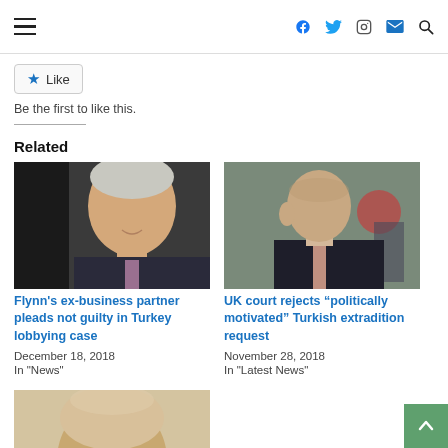Navigation bar with hamburger menu and social icons (Facebook, Twitter, Instagram, Email, Search)
Like
Be the first to like this.
Related
[Figure (photo): Photo of Michael Flynn, a man with white/gray hair in a dark suit, smiling, standing near a car door]
Flynn's ex-business partner pleads not guilty in Turkey lobbying case
December 18, 2018
In "News"
[Figure (photo): Photo of a bald man in a dark suit with a pink/mauve tie looking serious outdoors with blurred background]
UK court rejects “politically motivated” Turkish extradition request
November 28, 2018
In "Latest News"
[Figure (photo): Photo of an elderly bald man, partial view, bottom of page]